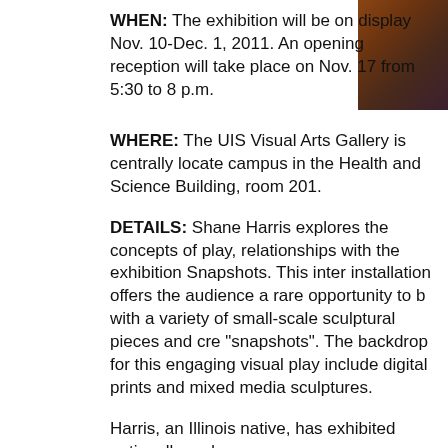[Figure (photo): Partial photo of a person wearing reddish-brown clothing, cropped at top-right corner of page]
WHEN: The exhibition will be on display Nov. 10-Dec. 1, 2011. An opening reception will take place on Nov. 17 from 5:30 to 8 p.m.
WHERE: The UIS Visual Arts Gallery is centrally located on campus in the Health and Science Building, room 201.
DETAILS: Shane Harris explores the concepts of play, relationships with the exhibition Snapshots. This interactive installation offers the audience a rare opportunity to interact with a variety of small-scale sculptural pieces and create their own "snapshots". The backdrop for this engaging visual playground include digital prints and mixed media sculptures.
Harris, an Illinois native, has exhibited nationally and